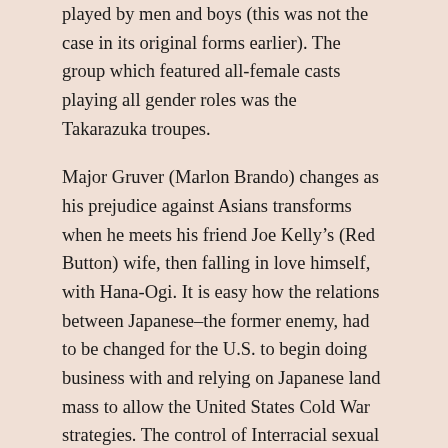played by men and boys (this was not the case in its original forms earlier).  The group which featured all-female casts playing all gender roles was the Takarazuka troupes.
Major Gruver (Marlon Brando) changes as his prejudice against Asians transforms when he meets his friend Joe Kelly’s (Red Button) wife, then falling in love himself, with Hana-Ogi.  It is easy how the relations between Japanese–the former enemy, had to be changed for the U.S. to begin doing business with and relying on Japanese land mass to allow the United States Cold War strategies.  The control of Interracial sexual and romantic relationships, then, becomes crucial in this transition.  As these relations form, however, it often gets mistaken for a disappearance of racism into erotic love.
It is, more accurately, a transferring of racism through romantic and sexualized love.  The racially hated becomes the racially desired.  There are many who do not want to participate even today, in this transition.  In either case, it is a maintenance of race and racism.